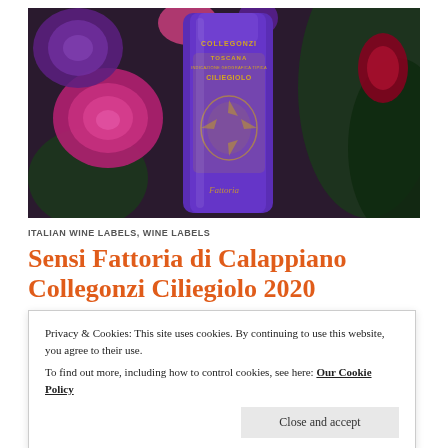[Figure (photo): A purple wine bottle with gold label reading COLLEGONZI TOSCANA INDICAZIONE GEOGRAFICA TIPICA CILIEGIOLO, surrounded by pink and purple flowers against a dark background with green leaves.]
ITALIAN WINE LABELS, WINE LABELS
Sensi Fattoria di Calappiano Collegonzi Ciliegiolo 2020
Privacy & Cookies: This site uses cookies. By continuing to use this website, you agree to their use.
To find out more, including how to control cookies, see here: Our Cookie Policy
Close and accept
substrates with sandy shale rich in marine fossils. Fermentation